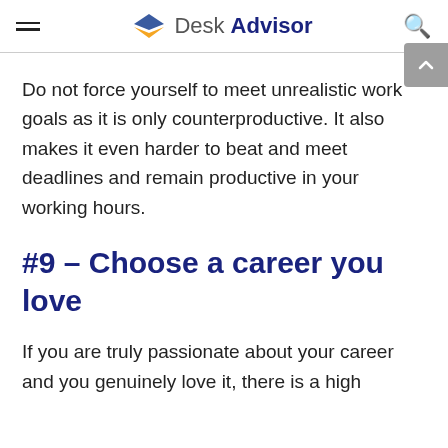Desk Advisor
Do not force yourself to meet unrealistic work goals as it is only counterproductive. It also makes it even harder to beat and meet deadlines and remain productive in your working hours.
#9 – Choose a career you love
If you are truly passionate about your career and you genuinely love it, there is a high